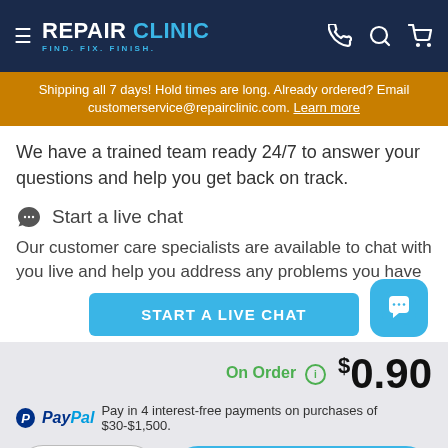REPAIR CLINIC — FIND. FIX. FINISH.
Shipping all 7 days! Hold times are long. Already ordered? Email customerservice@repairclinic.com. Learn more
We have a trained team ready 24/7 to answer your questions and help you get back on track.
Start a live chat
Our customer care specialists are available to chat with you live and help you address any problems you have
START A LIVE CHAT
On Order  $0.90
PayPal  Pay in 4 interest-free payments on purchases of $30-$1,500.
1   ADD TO CART